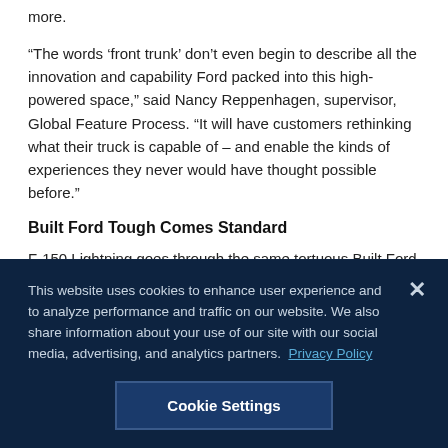more.
“The words ‘front trunk’ don’t even begin to describe all the innovation and capability Ford packed into this high-powered space,” said Nancy Reppenhagen, supervisor, Global Feature Process. “It will have customers rethinking what their truck is capable of – and enable the kinds of experiences they never would have thought possible before.”
Built Ford Tough Comes Standard
F-150 Lightning goes through the same tortuous Built Ford Tough testing as all F-Series trucks. The military-
This website uses cookies to enhance user experience and to analyze performance and traffic on our website. We also share information about your use of our site with our social media, advertising, and analytics partners. Privacy Policy
Cookie Settings